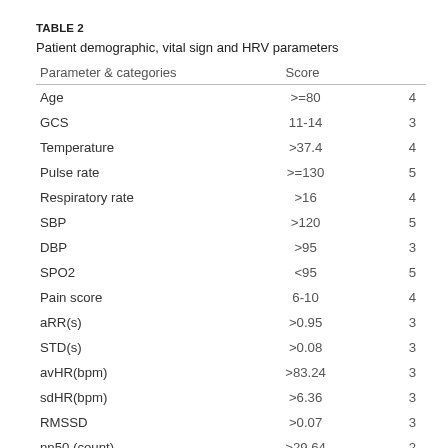TABLE 2
Patient demographic, vital sign and HRV parameters
| Parameter & categories | Score |  |
| --- | --- | --- |
| Age | >=80 | 4 |
| GCS | 11-14 | 3 |
| Temperature | >37.4 | 4 |
| Pulse rate | >=130 | 5 |
| Respiratory rate | >16 | 4 |
| SBP | >120 | 5 |
| DBP | >95 | 3 |
| SPO2 | <95 | 5 |
| Pain score | 6-10 | 4 |
| aRR(s) | >0.95 | 3 |
| STD(s) | >0.08 | 3 |
| avHR(bpm) | >83.24 | 3 |
| sdHR(bpm) | >6.36 | 3 |
| RMSSD | >0.07 | 3 |
| nn50 (count) | >29.64 | 2 |